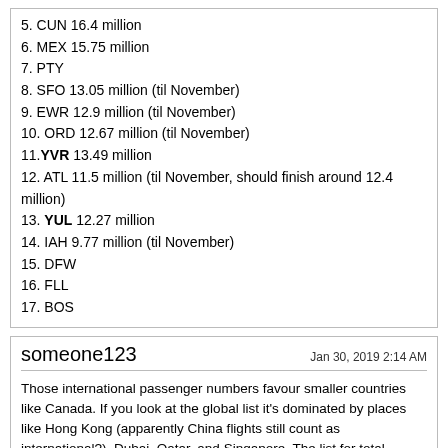5. CUN 16.4 million
6. MEX 15.75 million
7. PTY
8. SFO 13.05 million (til November)
9. EWR 12.9 million (til November)
10. ORD 12.67 million (til November)
11. YVR 13.49 million
12. ATL 11.5 million (til November, should finish around 12.4 million)
13. YUL 12.27 million
14. IAH 9.77 million (til November)
15. DFW
16. FLL
17. BOS
someone123 — Jan 30, 2019 2:14 AM — Those international passenger numbers favour smaller countries like Canada. If you look at the global list it's dominated by places like Hong Kong (apparently China flights still count as international?), Dubai, Qatar, and Singapore. The list for total passengers is topped by Atlanta and Beijing.
wave46 — Jan 30, 2019 2:44 AM — Stirring the pot.... ;)